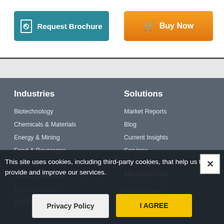[Figure (screenshot): Request Brochure button (teal) and Buy Now button (orange) in white top bar]
Industries
Biotechnology
Chemicals & Materials
Energy & Mining
Food & Beverages
Healthcare IT
Metals & Minerals
Medical Devices
Pharmaceutical
Semiconductor & Electronics
Solutions
Market Reports
Blog
Current Insights
Services
Resources
Industry News
About TMR
This site uses cookies, including third-party cookies, that help us to provide and improve our services.
Privacy Policy
I AGREE